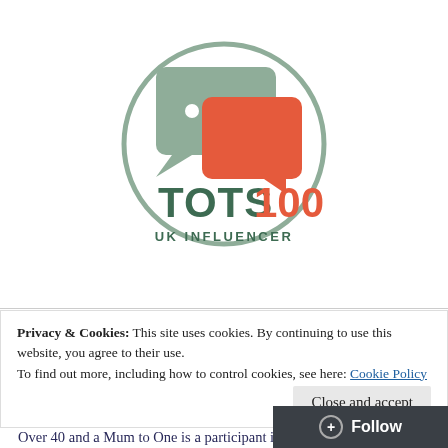[Figure (logo): TOTS100 UK Influencer badge: a circle outline in sage green containing two overlapping speech bubbles (sage green behind, coral/orange-red in front with a speech tail), below which reads 'TOTS100' in bold with TOTS in dark green and 100 in coral/orange, and 'UK INFLUENCER' in small dark green caps below.]
Privacy & Cookies: This site uses cookies. By continuing to use this website, you agree to their use.
To find out more, including how to control cookies, see here: Cookie Policy
Close and accept
Follow
Over 40 and a Mum to One is a participant in th